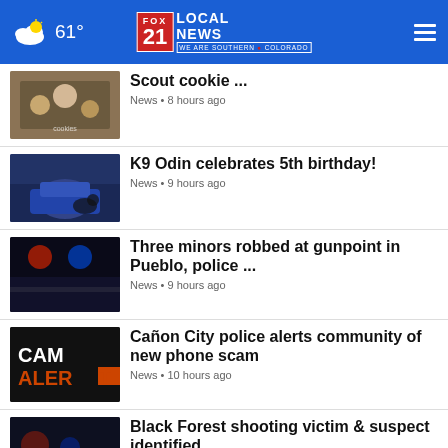FOX 21 LOCAL NEWS • WE ARE SOUTHERN COLORADO • 61°
Scout cookie ... News • 8 hours ago
K9 Odin celebrates 5th birthday! News • 9 hours ago
Three minors robbed at gunpoint in Pueblo, police ... News • 9 hours ago
Cañon City police alerts community of new phone scam News • 10 hours ago
Black Forest shooting victim & suspect identified News • 11 hours ago
Police investigate stabbing that killed La Junta ... News • 11 hours ago